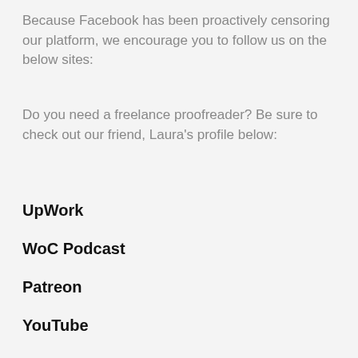Because Facebook has been proactively censoring our platform, we encourage you to follow us on the below sites:
Do you need a freelance proofreader? Be sure to check out our friend, Laura's profile below:
UpWork
WoC Podcast
Patreon
YouTube
te
[Figure (screenshot): Advertisement banner for Petco showing logo, 'In-store shopping' and 'Curbside pickup' checkmarks, and a blue navigation arrow icon]